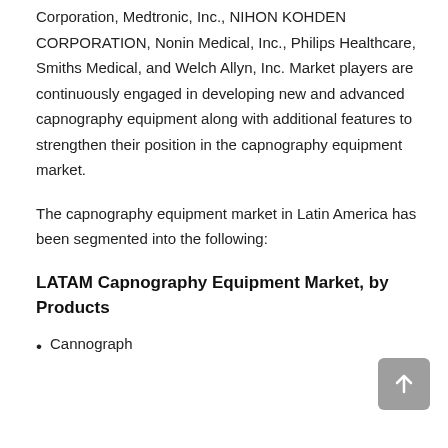Corporation, Medtronic, Inc., NIHON KOHDEN CORPORATION, Nonin Medical, Inc., Philips Healthcare, Smiths Medical, and Welch Allyn, Inc. Market players are continuously engaged in developing new and advanced capnography equipment along with additional features to strengthen their position in the capnography equipment market.
The capnography equipment market in Latin America has been segmented into the following:
LATAM Capnography Equipment Market, by Products
Cannograph